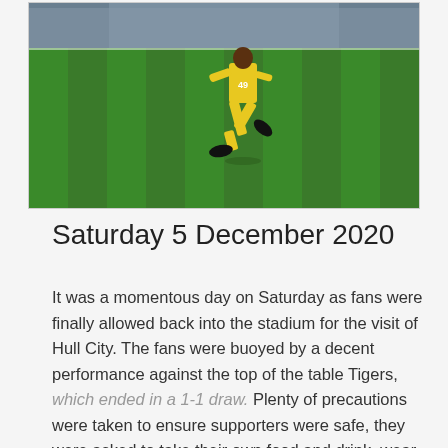[Figure (photo): A footballer wearing yellow kit with number 49 running on a green football pitch. Stadium seating visible in the background.]
Saturday 5 December 2020
It was a momentous day on Saturday as fans were finally allowed back into the stadium for the visit of Hull City. The fans were buoyed by a decent performance against the top of the table Tigers, which ended in a 1-1 draw. Plenty of precautions were taken to ensure supporters were safe, they were asked to take their own food and drink, wear masks and maintain at least two metres distance or